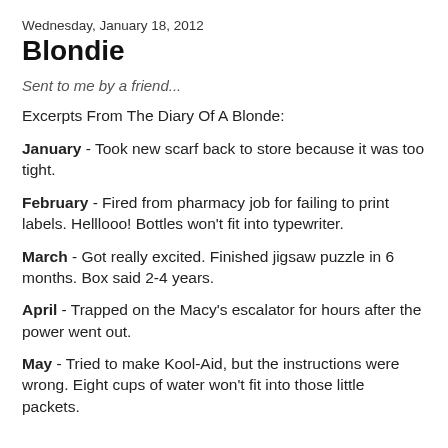Wednesday, January 18, 2012
Blondie
Sent to me by a friend...
Excerpts From The Diary Of A Blonde:
January - Took new scarf back to store because it was too tight.
February - Fired from pharmacy job for failing to print labels.  Helllooo!  Bottles won't fit into typewriter.
March - Got really excited. Finished jigsaw puzzle in 6 months.  Box said 2-4 years.
April - Trapped on the Macy's escalator for hours after the power went out.
May - Tried to make Kool-Aid, but the instructions were wrong.  Eight cups of water won't fit into those little packets.